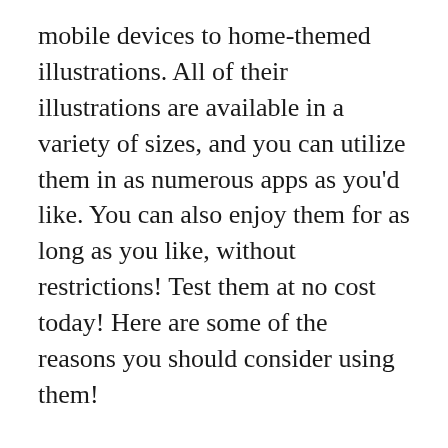mobile devices to home-themed illustrations. All of their illustrations are available in a variety of sizes, and you can utilize them in as numerous apps as you'd like. You can also enjoy them for as long as you like, without restrictions! Test them at no cost today! Here are some of the reasons you should consider using them!
Over a hundred thousand free vector icons are available for download and place on your website. It is also possible to edit them by using a variety of design software. While Icons8 only has a certain file size It is possible to take advantage of their API